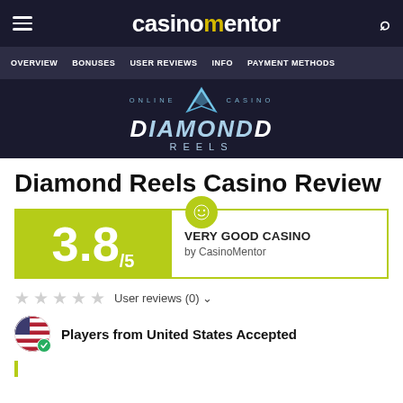casinomentor
OVERVIEW  BONUSES  USER REVIEWS  INFO  PAYMENT METHODS
[Figure (logo): Diamond Reels Online Casino logo with blue wing graphic and text on dark background]
Diamond Reels Casino Review
[Figure (infographic): Rating box showing 3.8/5 score in yellow-green with VERY GOOD CASINO label by CasinoMentor]
User reviews (0)
Players from United States Accepted